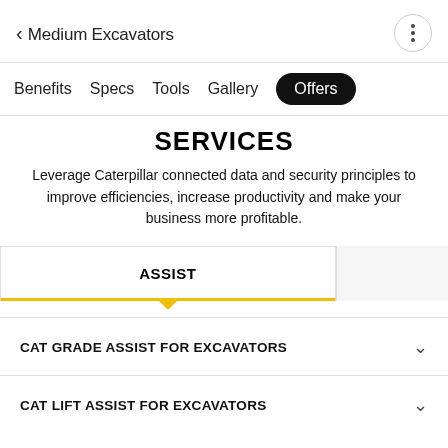Medium Excavators
Benefits  Specs  Tools  Gallery  Offers
SERVICES
Leverage Caterpillar connected data and security principles to improve efficiencies, increase productivity and make your business more profitable.
ASSIST
CAT GRADE ASSIST FOR EXCAVATORS
CAT LIFT ASSIST FOR EXCAVATORS